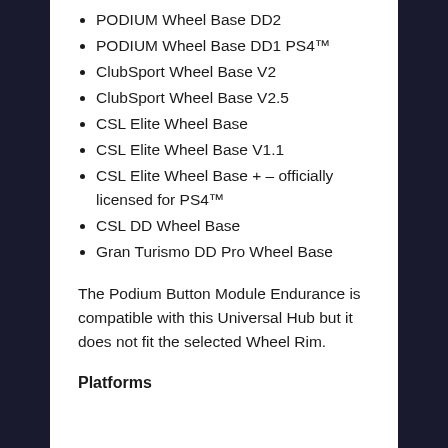PODIUM Wheel Base DD2
PODIUM Wheel Base DD1 PS4™
ClubSport Wheel Base V2
ClubSport Wheel Base V2.5
CSL Elite Wheel Base
CSL Elite Wheel Base V1.1
CSL Elite Wheel Base + – officially licensed for PS4™
CSL DD Wheel Base
Gran Turismo DD Pro Wheel Base
The Podium Button Module Endurance is compatible with this Universal Hub but it does not fit the selected Wheel Rim.
Platforms